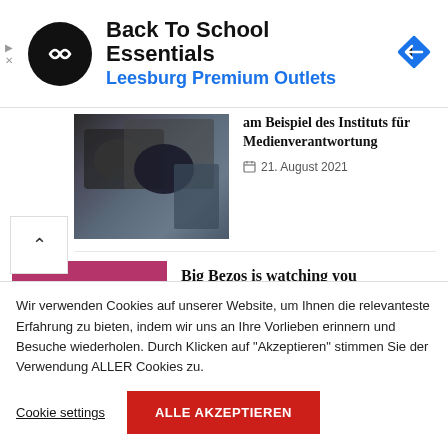[Figure (screenshot): Advertisement banner for 'Back To School Essentials' by Leesburg Premium Outlets. Black circular logo with arrow icon on left, blue navigation icon on right.]
am Beispiel des Instituts für Medienverantwortung
21. August 2021
[Figure (photo): Camera crew with professional video cameras, dark tones.]
Big Bezos is watching you
27. August 2021
[Figure (photo): Amazon Echo smart speaker on a pink/magenta background.]
Wir verwenden Cookies auf unserer Website, um Ihnen die relevanteste Erfahrung zu bieten, indem wir uns an Ihre Vorlieben erinnern und Besuche wiederholen. Durch Klicken auf "Akzeptieren" stimmen Sie der Verwendung ALLER Cookies zu.
Cookie settings
ALLE AKZEPTIEREN